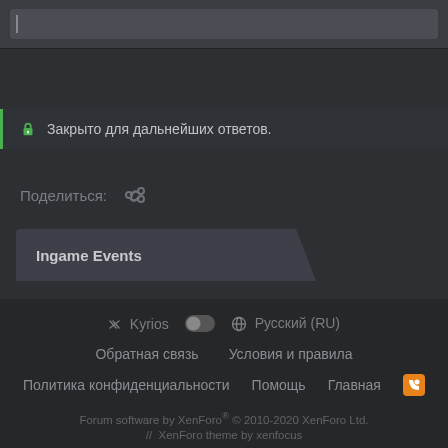Закрыто для дальнейших ответов.
Поделиться:
Ingame Events
Kyrios | Русский (RU) | Обратная связь | Условия и правила | Политика конфиденциальности | Помощь | Главная | Forum software by XenForo® © 2010-2020 XenForo Ltd. // XenForo theme by xenfocus